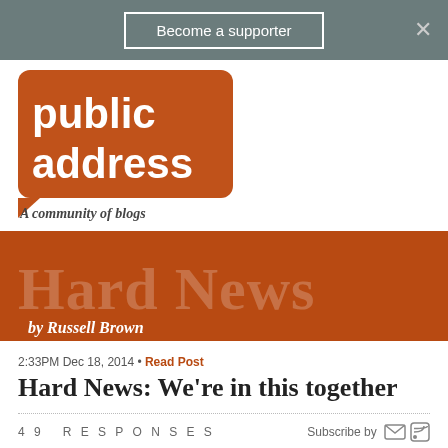Become a supporter
[Figure (logo): Public Address - A community of blogs logo: brown rounded speech bubble with white bold text 'public address']
[Figure (illustration): Hard News by Russell Brown - brown banner with large semi-transparent text 'Hard News' and white subtitle 'by Russell Brown']
2:33PM Dec 18, 2014 • Read Post
Hard News: We're in this together
49 RESPONSES
Subscribe by [email] [rss]
← Older  1  2  Newer→